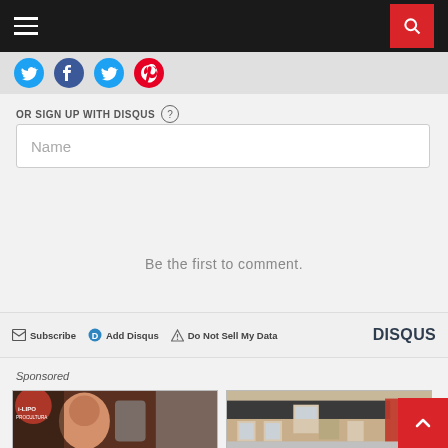Navigation bar with hamburger menu and search button
[Figure (screenshot): Social media share icon buttons (Twitter/blue, Facebook/dark blue, Twitter/blue, Pinterest/red) on light grey strip]
OR SIGN UP WITH DISQUS ?
Name
Be the first to comment.
Subscribe   Add Disqus   Do Not Sell My Data   DISQUS
Sponsored
[Figure (photo): Two sponsored content image thumbnails side by side: left shows a woman in a medical/beauty treatment setting, right shows a modern brick house exterior]
[Figure (screenshot): Red back-to-top chevron button in bottom right corner]